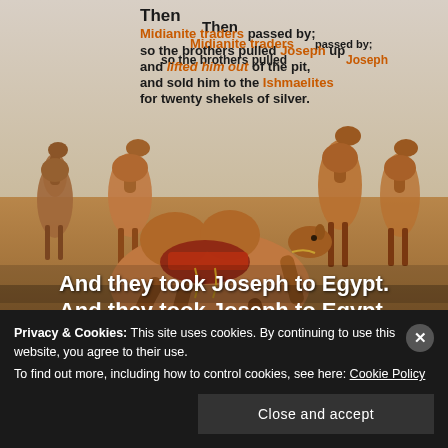[Figure (photo): A desert scene with several camels, one lying down in the foreground with decorative saddle, others standing in background. Warm sandy tones with hazy sky. Text overlay with Bible verse from Genesis 37:28 about Joseph being sold to Ishmaelites.]
Privacy & Cookies: This site uses cookies. By continuing to use this website, you agree to their use. To find out more, including how to control cookies, see here: Cookie Policy
Close and accept